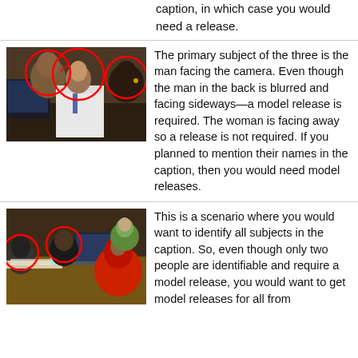caption, in which case you would need a release.
[Figure (photo): Three people in a medical/lab setting. A man in a white coat faces the camera (circled in red), a man in the background facing sideways (circled in red), and a woman facing away (circled in red).]
The primary subject of the three is the man facing the camera. Even though the man in the back is blurred and facing sideways—a model release is required. The woman is facing away so a release is not required. If you planned to mention their names in the caption, then you would need model releases.
[Figure (photo): Group of people sitting around a table with laptops and papers. Two people are circled in red as identifiable subjects.]
This is a scenario where you would want to identify all subjects in the caption. So, even though only two people are identifiable and require a model release, you would want to get model releases for all from